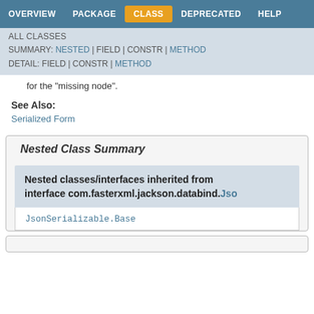OVERVIEW | PACKAGE | CLASS | DEPRECATED | HELP
ALL CLASSES
SUMMARY: NESTED | FIELD | CONSTR | METHOD
DETAIL: FIELD | CONSTR | METHOD
for the "missing node".
See Also:
Serialized Form
Nested Class Summary
Nested classes/interfaces inherited from interface com.fasterxml.jackson.databind.Jso
JsonSerializable.Base